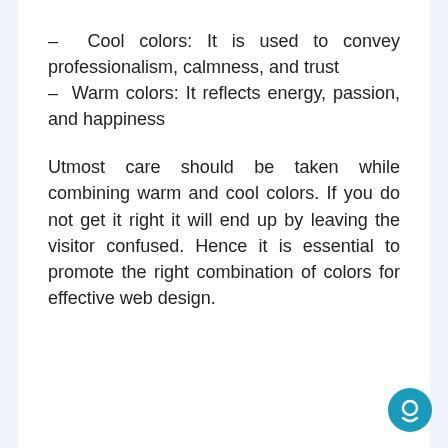– Cool colors: It is used to convey professionalism, calmness, and trust
– Warm colors: It reflects energy, passion, and happiness
Utmost care should be taken while combining warm and cool colors. If you do not get it right it will end up by leaving the visitor confused. Hence it is essential to promote the right combination of colors for effective web design.